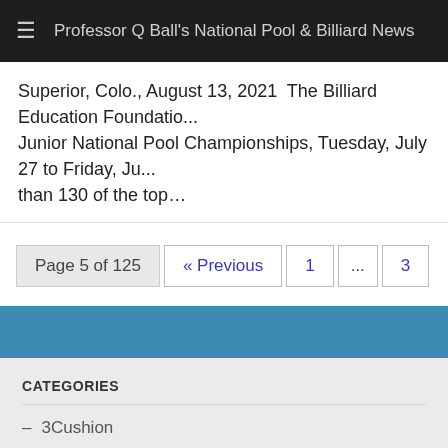≡  Professor Q Ball's National Pool & Billiard News
Superior, Colo., August 13, 2021  The Billiard Education Foundatio... Junior National Pool Championships, Tuesday, July 27 to Friday, Ju... than 130 of the top…
Page 5 of 125  « Previous  1  ...  3
CATEGORIES
– 3Cushion
– Artistic Pool